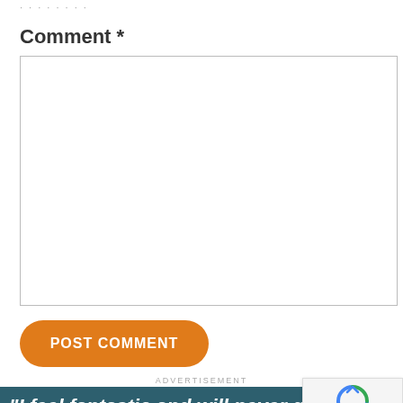............
Comment *
[Comment text area]
POST COMMENT
ADVERTISEMENT
"I feel fantastic and will never go back to eating any other way."